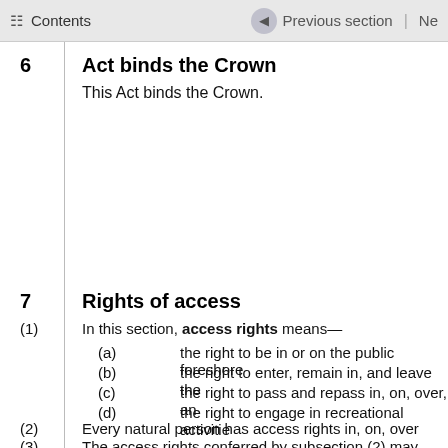Contents | Previous section | Ne
6   Act binds the Crown
This Act binds the Crown.
Public fore
Rig
7   Rights of access
(1)  In this section, access rights means—
(a)  the right to be in or on the public foreshore
(b)  the right to enter, remain in, and leave the
(c)  the right to pass and repass in, on, over, an
(d)  the right to engage in recreational activitie
(2)  Every natural person has access rights in, on, over
(3)  The access rights conferred by subsection (2) may
prohibitions, on access that are imposed by or und